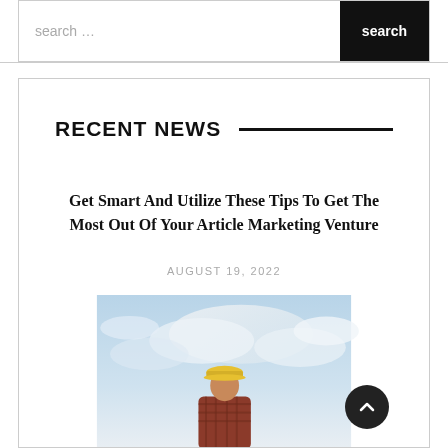Search...  Search
RECENT NEWS
Get Smart And Utilize These Tips To Get The Most Out Of Your Article Marketing Venture
AUGUST 19, 2022
[Figure (photo): Person wearing a yellow hard hat and plaid jacket against a partly cloudy sky background]